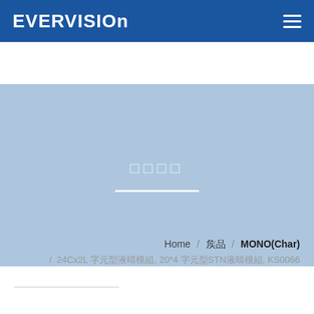EVERVISION
[Figure (other): Blue banner hero section with small white icon/text characters and a white horizontal divider line below]
Home / 產品 / MONO(Char) / 24Cx2L 字元型液晶模組, 20*4 字元型STN液晶模組, KS0066